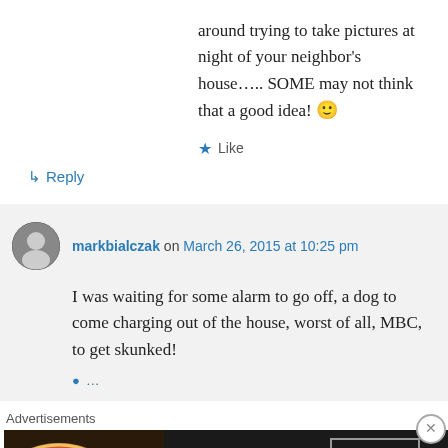around trying to take pictures at night of your neighbor's house….. SOME may not think that a good idea! 🙂
★ Like
↳ Reply
markbialczak on March 26, 2015 at 10:25 pm
I was waiting for some alarm to go off, a dog to come charging out of the house, worst of all, MBC, to get skunked!
Advertisements
[Figure (screenshot): Seamless food delivery advertisement banner with pizza image, Seamless logo in red, and ORDER NOW button]